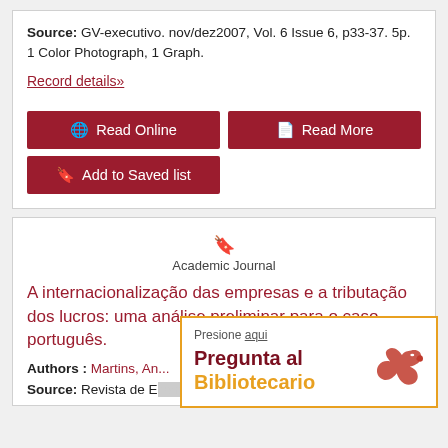Source: GV-executivo. nov/dez2007, Vol. 6 Issue 6, p33-37. 5p. 1 Color Photograph, 1 Graph.
Record details»
Read Online
Read More
Add to Saved list
Academic Journal
A internacionalização das empresas e a tributação dos lucros: uma análise preliminar para o caso português.
Authors : Martins, An...
Source: Revista de Economia e Administração. jar
Presione aqui
Pregunta al Bibliotecario